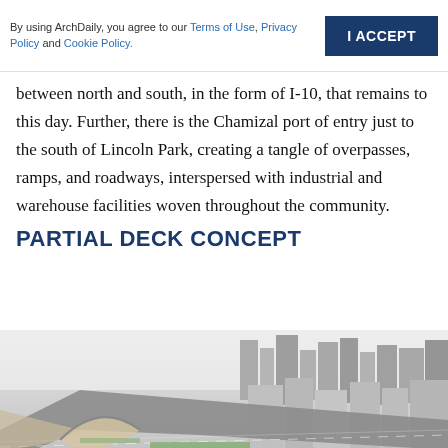By using ArchDaily, you agree to our Terms of Use, Privacy Policy and Cookie Policy. | I ACCEPT
between north and south, in the form of I-10, that remains to this day. Further, there is the Chamizal port of entry just to the south of Lincoln Park, creating a tangle of overpasses, ramps, and roadways, interspersed with industrial and warehouse facilities woven throughout the community.
PARTIAL DECK CONCEPT
[Figure (photo): Aerial perspective rendering of urban partial deck concept showing highway infrastructure, city buildings, green spaces, and a curved architectural element, with a Save button overlay in the lower right corner.]